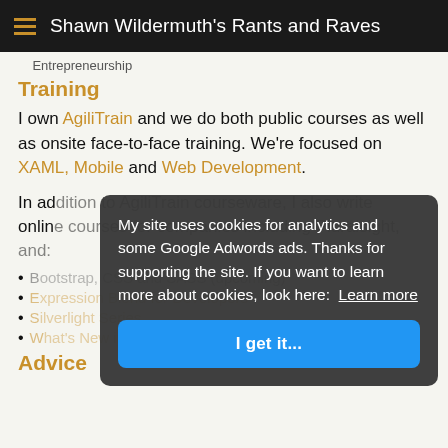Shawn Wildermuth's Rants and Raves
Entrepreneurship
Training
I own AgiliTrain and we do both public courses as well as onsite face-to-face training. We're focused on XAML, Mobile and Web Development.
In addition to AgiliTrain courseware, I also write online courses for companies including Pluralsight, and:
Bootstrap, CSS and SASS (upcoming)
Expression Blend for Developers
Silverlight Series
What's New in Silverlight
Advice
My site uses cookies for analytics and some Google Adwords ads. Thanks for supporting the site. If you want to learn more about cookies, look here:  Learn more